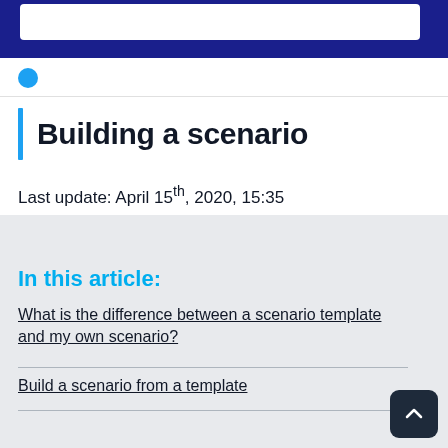Building a scenario
Last update: April 15th, 2020, 15:35
In this article:
What is the difference between a scenario template and my own scenario?
Build a scenario from a template